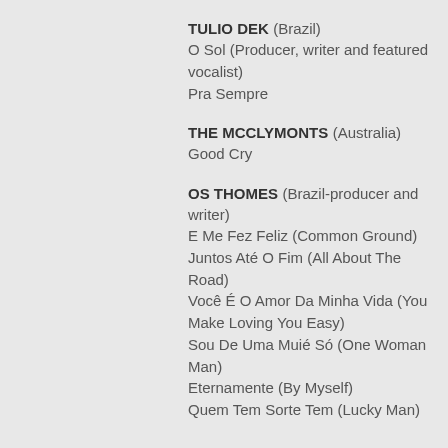TULIO DEK (Brazil)
O Sol (Producer, writer and featured vocalist)
Pra Sempre
THE MCCLYMONTS (Australia)
Good Cry
OS THOMES (Brazil-producer and writer)
E Me Fez Feliz (Common Ground)
Juntos Até O Fim (All About The Road)
Você É O Amor Da Minha Vida (You Make Loving You Easy)
Sou De Uma Muié Só (One Woman Man)
Eternamente (By Myself)
Quem Tem Sorte Tem (Lucky Man)